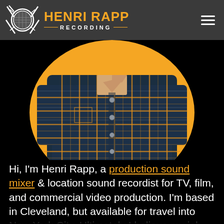[Figure (logo): Henri Rapp Recording logo with circular microphone icon, lightning bolts, orange brand name text and subtitle]
[Figure (photo): Photo of Henri Rapp from chest down wearing a dark navy and orange plaid flannel shirt, set against an orange circular background]
Hi, I'm Henri Rapp, a production sound mixer & location sound recordist for TV, film, and commercial video production. I'm based in Cleveland, but available for travel into New York City. Ultimately I believe my job as a Sound Recordist is all about capturing performances: